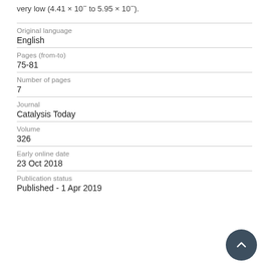very low (4.41 × 10 to 5.95 × 10 ).
| Original language | English |
| Pages (from-to) | 75-81 |
| Number of pages | 7 |
| Journal | Catalysis Today |
| Volume | 326 |
| Early online date | 23 Oct 2018 |
| Publication status | Published - 1 Apr 2019 |